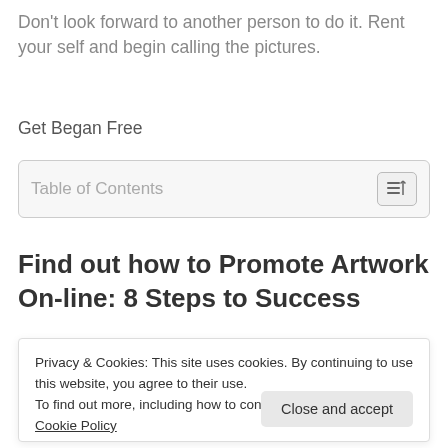Don't look forward to another person to do it. Rent your self and begin calling the pictures.
Get Began Free
Table of Contents
Find out how to Promote Artwork On-line: 8 Steps to Success
Privacy & Cookies: This site uses cookies. By continuing to use this website, you agree to their use.
To find out more, including how to control cookies, see here: Cookie Policy